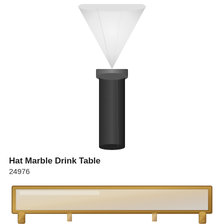[Figure (photo): A marble drink table styled like a hat — an inverted white marble cone top resting on a black cylindrical marble base.]
Hat Marble Drink Table
24976
[Figure (photo): A square coffee table with a mirrored or glass top surface and an ornate bronze/gold-toned metal frame with decorative legs, partially cropped at bottom of page.]